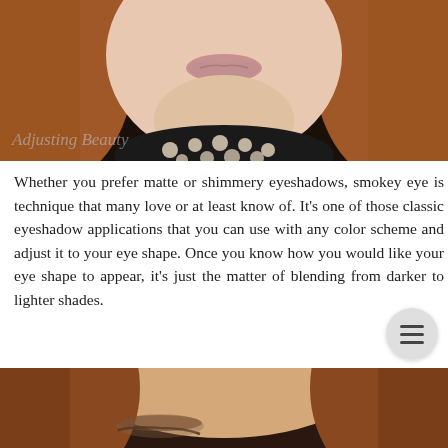[Figure (photo): Close-up photo of a woman's face showing lower half — lips, chin, neck — with long auburn/red hair and a black and white polka dot collar. Watermark text 'Adjusting Beauty' visible in lower left of image.]
Whether you prefer matte or shimmery eyeshadows, smokey eye is technique that many love or at least know of. It's one of those classic eyeshadow applications that you can use with any color scheme and adjust it to your eye shape. Once you know how you would like your eye shape to appear, it's just the matter of blending from darker to lighter shades.
[Figure (photo): Partial photo of a woman's face, cropped at bottom of page showing forehead, hair and part of an eye with visible eyeliner/eyeshadow makeup.]